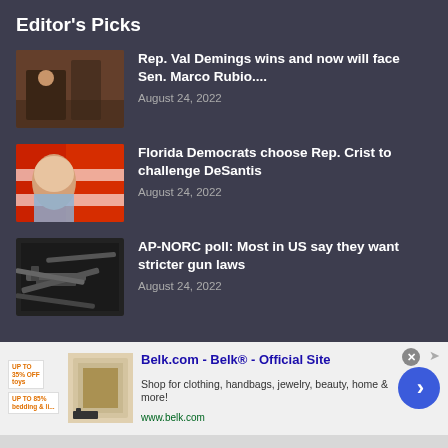Editor's Picks
Rep. Val Demings wins and now will face Sen. Marco Rubio.... August 24, 2022
Florida Democrats choose Rep. Crist to challenge DeSantis August 24, 2022
AP-NORC poll: Most in US say they want stricter gun laws August 24, 2022
[Figure (screenshot): Advertisement for Belk.com with product thumbnail, title 'Belk.com - Belk® - Official Site', description text, URL www.belk.com, and a blue arrow CTA button]